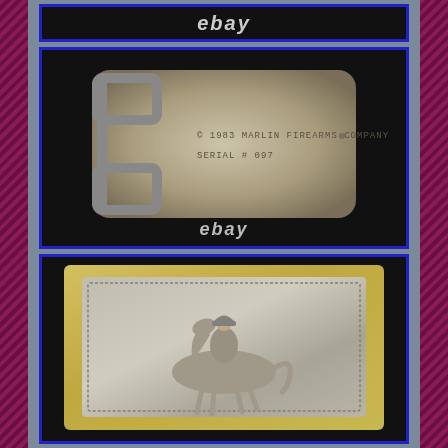[Figure (photo): Top image showing eBay watermark on black background — partial/cropped view of belt buckle listing]
[Figure (photo): Back of a metal belt buckle showing belt-loop hardware, stamped text reading '© 1983 MARLIN FIREARMS COMPANY' and 'SERIAL # 097', on black background with eBay watermark]
[Figure (photo): Front of a metal belt buckle with gold-tone outer frame and silver relief inset depicting a cowboy on horseback, decorative border around the relief]